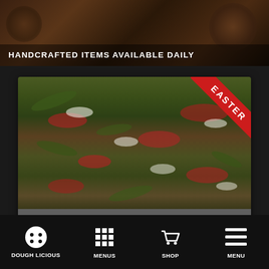[Figure (photo): Top banner with dark food background (pizza/cooking) and white bold text 'HANDCRAFTED ITEMS AVAILABLE DAILY']
HANDCRAFTED ITEMS AVAILABLE DAILY
[Figure (photo): Salad card image showing mixed greens with cranberries, walnuts, and feta cheese. Easter ribbon badge in top-right corner. Gray footer with 'HOLIDAY MENUS' title and 'FOOD SHOP SPECIAL ORDER ITEMS ONLY' subtitle.]
HOLIDAY MENUS
FOOD SHOP SPECIAL ORDER ITEMS ONLY
DOUGH LICIOUS  MENUS  SHOP  MENU